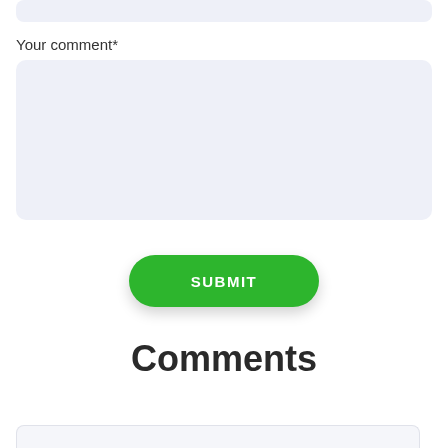[Figure (screenshot): Partial top input field box with light blue-grey background]
Your comment*
[Figure (screenshot): Large textarea input box with light blue-grey background for entering a comment]
SUBMIT
Comments
[Figure (screenshot): Partial bottom input/comment box with light grey background and border]